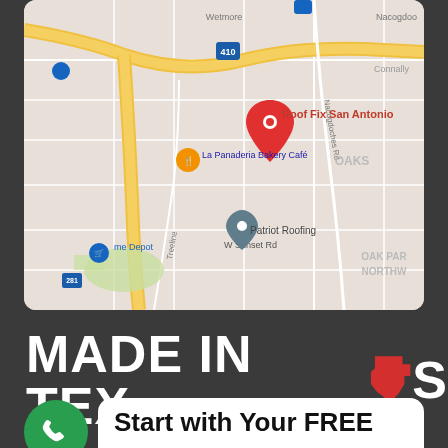[Figure (map): Google Maps screenshot showing the location of Roof Fix San Antonio near I-410 and Wetmore Rd in San Antonio, TX. Other visible landmarks include La Panaderia Bakery Café, Patriot Roofing, Home Depot, W Sunset Rd, Nacogdoches Rd, Treeline, and highway 281. The area labels OAKS and OAK PAR NORTHW are visible.]
MADE IN TEXAS
Start with Your FREE